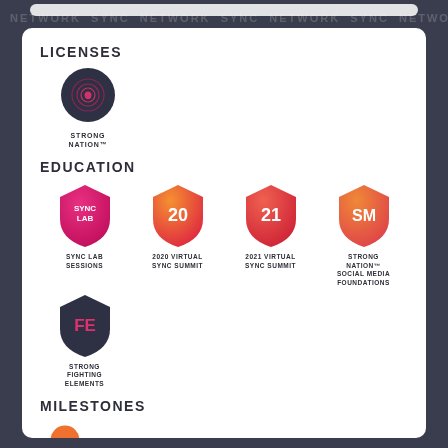NETWORK SYNC NETWORK SYNC NETWORK SYNC NETWORK SYNC NETWORK
LICENSES
[Figure (logo): Strong Nation license badge - dark circular badge with spiral icon]
STRONG NATION™
EDUCATION
[Figure (logo): Sync Lab Sessions - pink/magenta shield badge with SYNC LAB text]
SYNC LAB SESSIONS
[Figure (logo): 2020 Virtual Sync Summit - orange-red shield badge with 20]
2020 VIRTUAL SYNC SUMMIT
[Figure (logo): 2021 Virtual Sync Summit - red shield badge with 21]
2021 VIRTUAL SYNC SUMMIT
[Figure (logo): Strong Nation Social Media Foundations - orange shield badge with SM]
STRONG NATION™ SOCIAL MEDIA FOUNDATIONS
[Figure (logo): Strong Fighting Elements - dark shield badge with FE in pink]
STRONG FIGHTING ELEMENTS
MILESTONES
[Figure (logo): Milestones badge - orange circle partially visible at bottom]